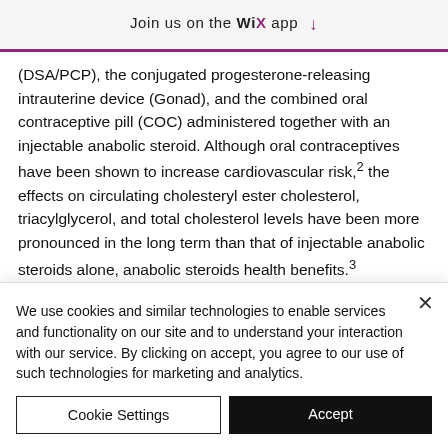Join us on the WiX app ↓
(DSA/PCP), the conjugated progesterone-releasing intrauterine device (Gonad), and the combined oral contraceptive pill (COC) administered together with an injectable anabolic steroid. Although oral contraceptives have been shown to increase cardiovascular risk,2 the effects on circulating cholesteryl ester cholesterol, triacylglycerol, and total cholesterol levels have been more pronounced in the long term than that of injectable anabolic steroids alone, anabolic steroids health benefits.3
We use cookies and similar technologies to enable services and functionality on our site and to understand your interaction with our service. By clicking on accept, you agree to our use of such technologies for marketing and analytics.
Cookie Settings | Accept